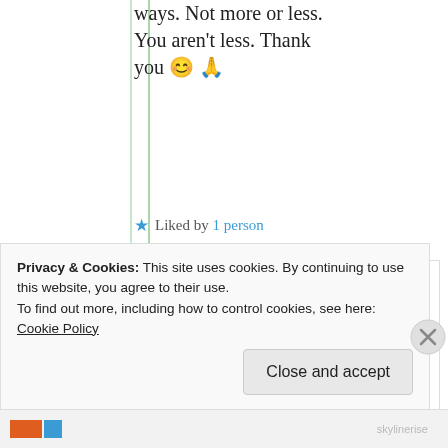ways. Not more or less. You aren't less. Thank you 😊 🙏
★ Liked by 1 person
skylinerise
5th Jul 2021 at 3:26 pm
Privacy & Cookies: This site uses cookies. By continuing to use this website, you agree to their use. To find out more, including how to control cookies, see here: Cookie Policy
Close and accept